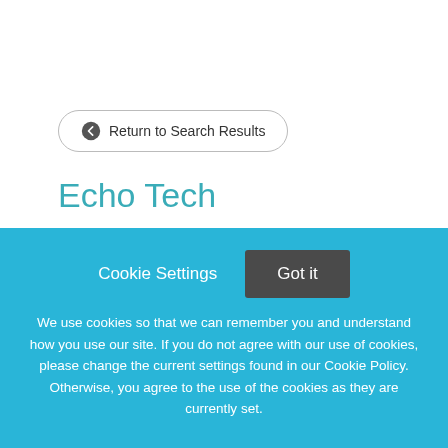← Return to Search Results
Echo Tech
OverviewSt. Luke's Health System is seeking an Echo Tech to join our team! Idaho's largest non-profit health
Cookie Settings  Got it
We use cookies so that we can remember you and understand how you use our site. If you do not agree with our use of cookies, please change the current settings found in our Cookie Policy. Otherwise, you agree to the use of the cookies as they are currently set.